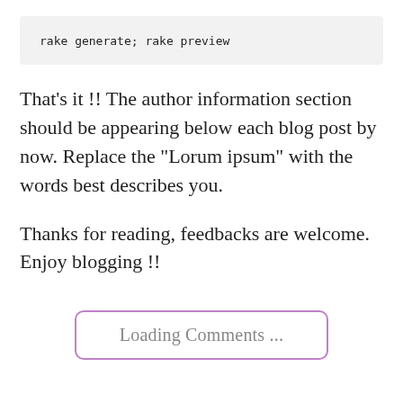rake generate; rake preview
That's it !! The author information section should be appearing below each blog post by now. Replace the "Lorum ipsum" with the words best describes you.
Thanks for reading, feedbacks are welcome. Enjoy blogging !!
Loading Comments ...